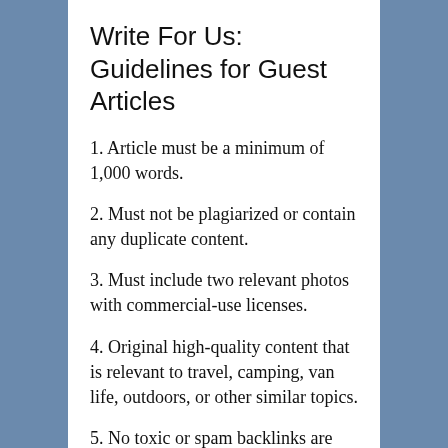Write For Us: Guidelines for Guest Articles
1. Article must be a minimum of 1,000 words.
2. Must not be plagiarized or contain any duplicate content.
3. Must include two relevant photos with commercial-use licenses.
4. Original high-quality content that is relevant to travel, camping, van life, outdoors, or other similar topics.
5. No toxic or spam backlinks are